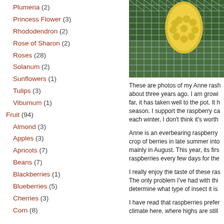Plumeria (2)
Princess Flower (3)
Rhododendron (2)
Rose of Sharon (2)
Roses (28)
Solanum (2)
Sunflowers (1)
Tulips (3)
Viburnum (1)
Fruit (94)
Almond (3)
Apples (3)
Apricots (7)
Beans (7)
Blackberries (1)
Blueberries (5)
Cherries (3)
Corn (8)
[Figure (photo): A yellow raspberry or similar fruit behind a hexagonal wire mesh/netting, with green foliage in the background.]
These are photos of my Anne rasp... about three years ago. I am growi... far, it has taken well to the pot. It h... season. I support the raspberry ca... each winter, I don't think it's worth...
Anne is an everbearing raspberry... crop of berries in late summer into... mainly in August. This year, its firs... raspberries every few days for the...
I really enjoy the taste of these ras... The only problem I've had with thi... determine what type of insect it is...
I have read that raspberries prefer... climate here, where highs are still...